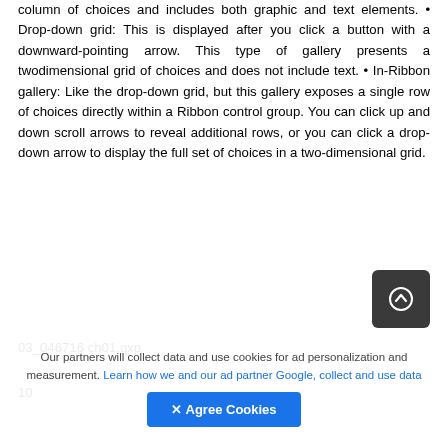column of choices and includes both graphic and text elements. · Drop-down grid: This is displayed after you click a button with a downward-pointing arrow. This type of gallery presents a twodimensional grid of choices and does not include text. · In-Ribbon gallery: Like the drop-down grid, but this gallery exposes a single row of choices directly within a Ribbon control group. You can click up and down scroll arrows to reveal additional rows, or you can click a drop-down arrow to display the full set of choices in a two-dimensional grid.
03_046716 ch01.qxp
10